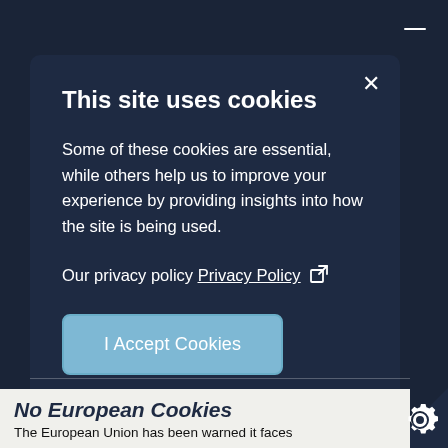This site uses cookies
Some of these cookies are essential, while others help us to improve your experience by providing insights into how the site is being used.
Our privacy policy Privacy Policy [external link icon]
I Accept Cookies
The European Union has been warned it faces